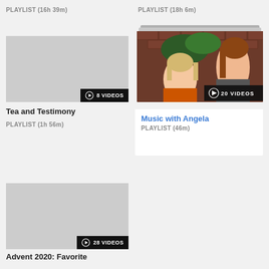PLAYLIST (16h 39m)
PLAYLIST (18h 6m)
[Figure (screenshot): Gray placeholder thumbnail with '8 VIDEOS' badge]
Tea and Testimony
PLAYLIST (1h 56m)
[Figure (photo): Photo of two girls in front of brick wall with '20 VIDEOS' badge, stacked card effect]
Music with Angela
PLAYLIST (46m)
[Figure (screenshot): Gray placeholder thumbnail with '28 VIDEOS' badge]
Advent 2020: Favorite